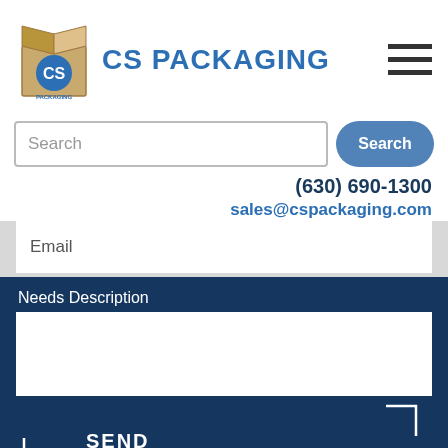[Figure (logo): CS Packaging logo with cardboard box icon and blue text]
Search
(630) 690-1300
sales@cspackaging.com
Email
Needs Description
SEND